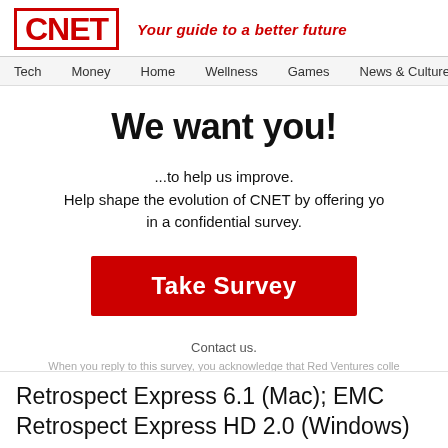CNET — Your guide to a better future
Tech Money Home Wellness Games News & Culture
We want you!
...to help us improve.
Help shape the evolution of CNET by offering your opinions in a confidential survey.
Take Survey
Contact us.
When you reply to this survey, you acknowledge that Red Ventures collects your data in accordance with the Red Ventures privacy policy available...
Retrospect Express 6.1 (Mac); EMC Retrospect Express HD 2.0 (Windows)